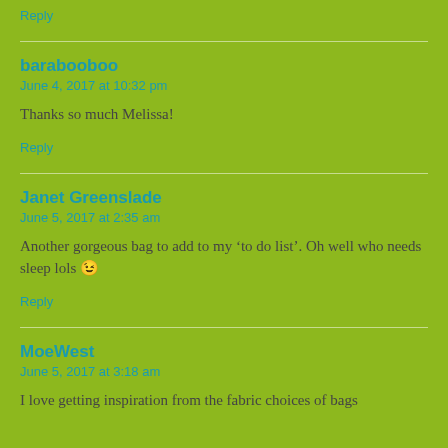Reply
barabooboo
June 4, 2017 at 10:32 pm
Thanks so much Melissa!
Reply
Janet Greenslade
June 5, 2017 at 2:35 am
Another gorgeous bag to add to my ‘to do list’. Oh well who needs sleep lols 😉
Reply
MoeWest
June 5, 2017 at 3:18 am
I love getting inspiration from the fabric choices of bags